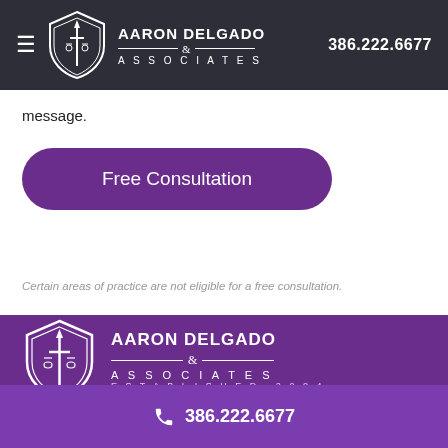Aaron Delgado & Associates 386.222.6677
message.
Free Consultation
Certain areas of practice are not eligible for a free consultation.
[Figure (logo): Aaron Delgado & Associates logo with shield, sword and scales — ESTABLISHED 2004]
386.222.6677